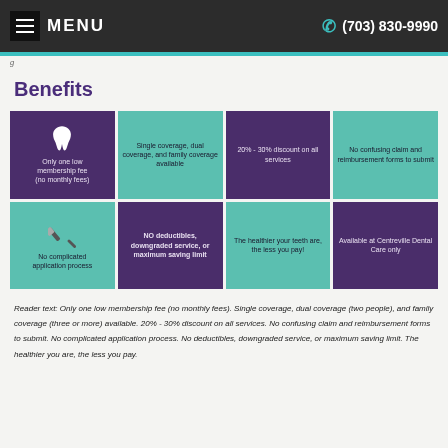MENU   (703) 830-9990
Benefits
[Figure (infographic): 2x4 grid of benefit tiles alternating purple and teal colors. Row 1: tooth icon with 'Only one low membership fee (no monthly fees)', 'Single coverage, dual coverage, and family coverage available', '20% - 30% discount on all services', 'No confusing claim and reimbursement forms to submit'. Row 2: toothbrush icon with 'No complicated application process', 'NO deductibles, downgraded service, or maximum saving limit', 'The healthier your teeth are, the less you pay!', 'Available at Centreville Dental Care only']
Reader text: Only one low membership fee (no monthly fees). Single coverage, dual coverage (two people), and family coverage (three or more) available. 20% - 30% discount on all services. No confusing claim and reimbursement forms to submit. No complicated application process. No deductibles, downgraded service, or maximum saving limit. The healthier you are, the less you pay.